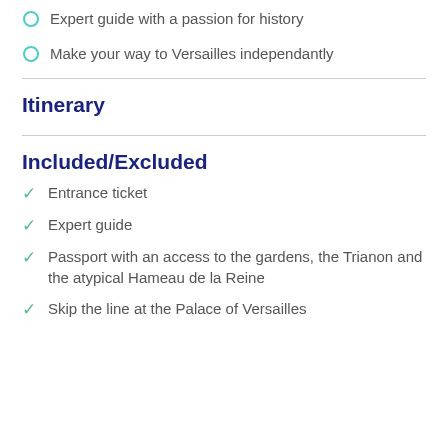Expert guide with a passion for history
Make your way to Versailles independantly
Itinerary
Included/Excluded
Entrance ticket
Expert guide
Passport with an access to the gardens, the Trianon and the atypical Hameau de la Reine
Skip the line at the Palace of Versailles